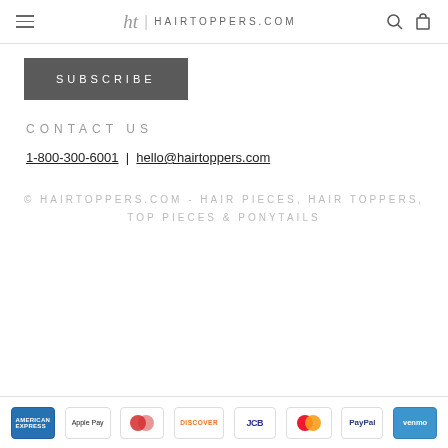HAIRTOPPERS.COM
SUBSCRIBE
CONTACT US
1-800-300-6001 | hello@hairtoppers.com
© HAIRTOPPERS.COM - HAIR PIECES, HAIR TOPPERS, TOP PIECES & PONYTAILS
[Figure (other): Payment method icons: American Express, Apple Pay, Diners, Discover, JCB, Mastercard, PayPal, Venmo]